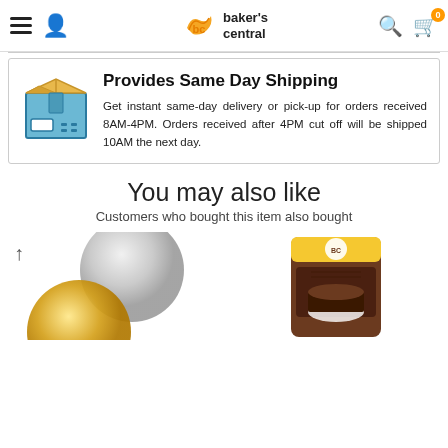Baker's Central — navigation header
Provides Same Day Shipping
Get instant same-day delivery or pick-up for orders received 8AM-4PM. Orders received after 4PM cut off will be shipped 10AM the next day.
You may also like
Customers who bought this item also bought
[Figure (photo): Two product images partially visible: a round silver/gold cake drum on the left and a bag of dark chocolate flour/mix on the right, with a scroll-up arrow icon.]